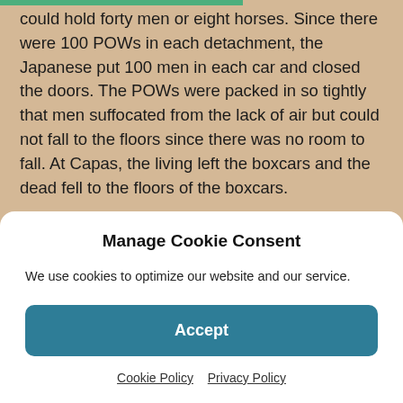could hold forty men or eight horses. Since there were 100 POWs in each detachment, the Japanese put 100 men in each car and closed the doors. The POWs were packed in so tightly that men suffocated from the lack of air but could not fall to the floors since there was no room to fall. At Capas, the living left the boxcars and the dead fell to the floors of the boxcars.

The POWs walked the last eight kilometers to Camp O'Donnell which was an unfinished Filipino Army Training Base that the Japanese pressed into use as a POW camp
Manage Cookie Consent
We use cookies to optimize our website and our service.
Accept
Cookie Policy  Privacy Policy